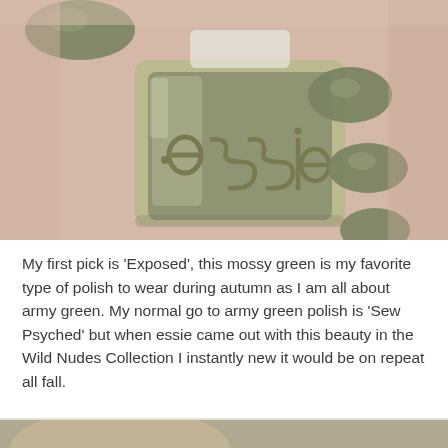[Figure (photo): A hand holding an essie nail polish bottle in a mossy army green color. The nails are painted the same shade. The bottle shows the embossed 'essie' logo.]
My first pick is 'Exposed', this mossy green is my favorite type of polish to wear during autumn as I am all about army green. My normal go to army green polish is 'Sew Psyched' but when essie came out with this beauty in the Wild Nudes Collection I instantly new it would be on repeat all fall.
[Figure (photo): Partial view of another nail polish swatch or bottle at the bottom of the page, partially cropped.]